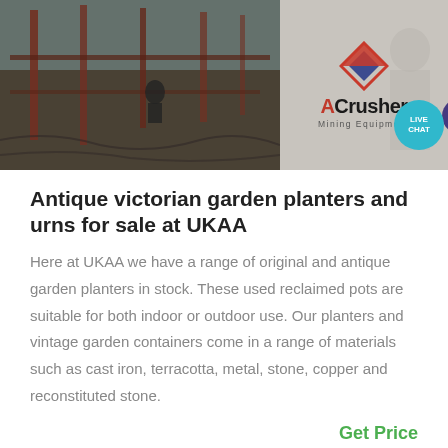[Figure (photo): Top banner with two sections: left shows a construction/mining site photo with workers and equipment; right shows ACrusher Mining Equipment logo on grey background with decorative diamond shape]
Antique victorian garden planters and urns for sale at UKAA
Here at UKAA we have a range of original and antique garden planters in stock. These used reclaimed pots are suitable for both indoor or outdoor use. Our planters and vintage garden containers come in a range of materials such as cast iron, terracotta, metal, stone, copper and reconstituted stone.
Get Price
[Figure (photo): Bottom partial image showing a large industrial building or warehouse structure with light blue sky background]